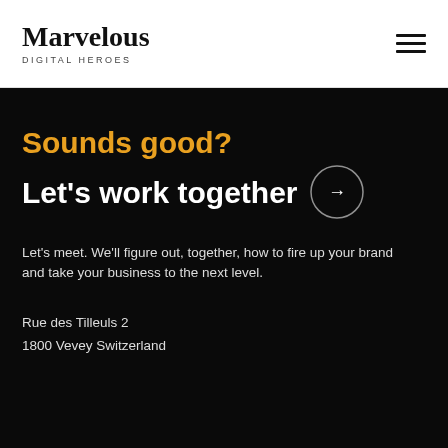Marvelous DIGITAL HEROES
Sounds good? Let's work together →
Let's meet. We'll figure out, together, how to fire up your brand and take your business to the next level.
Rue des Tilleuls 2
1800 Vevey Switzerland